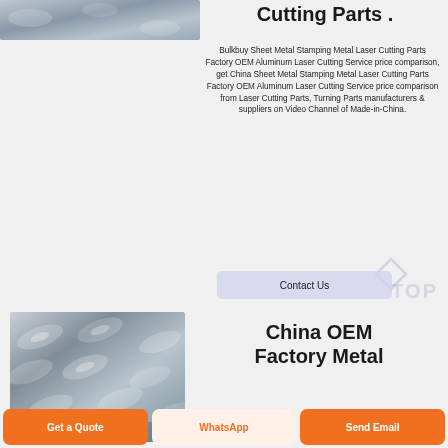[Figure (photo): Partial view of sheet metal/aluminum textured surface (top strip)]
Cutting Parts .
Bulkbuy Sheet Metal Stamping Metal Laser Cutting Parts Factory OEM Aluminum Laser Cutting Service price comparison, get China Sheet Metal Stamping Metal Laser Cutting Parts Factory OEM Aluminum Laser Cutting Service price comparison from Laser Cutting Parts, Turning Parts manufacturers & suppliers on Video Channel of Made-in-China.
Contact Us
[Figure (photo): Close-up photo of shiny aluminum diamond plate / sheet metal surface]
China OEM Factory Metal
Get a Quote
WhatsApp
Send Email